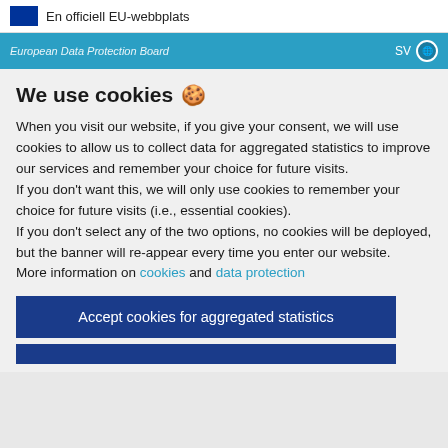En officiell EU-webbplats
European Data Protection Board   SV
We use cookies 🍪
When you visit our website, if you give your consent, we will use cookies to allow us to collect data for aggregated statistics to improve our services and remember your choice for future visits.
If you don't want this, we will only use cookies to remember your choice for future visits (i.e., essential cookies).
If you don't select any of the two options, no cookies will be deployed, but the banner will re-appear every time you enter our website.
More information on cookies and data protection
Accept cookies for aggregated statistics